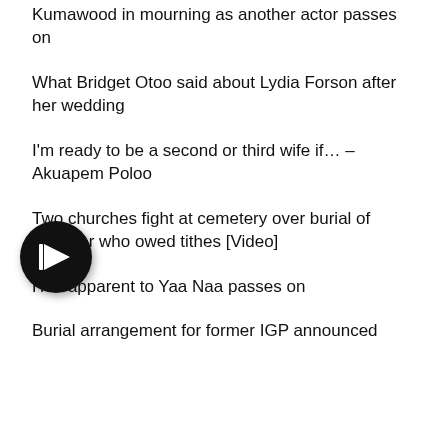Kumawood in mourning as another actor passes on
What Bridget Otoo said about Lydia Forson after her wedding
I'm ready to be a second or third wife if… – Akuapem Poloo
Two churches fight at cemetery over burial of member who owed tithes [Video]
Heir apparent to Yaa Naa passes on
Burial arrangement for former IGP announced
[Figure (other): Circular black play button with white fast-forward/play icon]